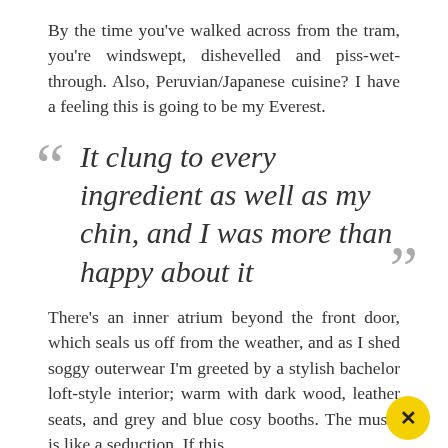By the time you've walked across from the tram, you're windswept, dishevelled and piss-wet-through. Also, Peruvian/Japanese cuisine? I have a feeling this is going to be my Everest.
“It clung to every ingredient as well as my chin, and I was more than happy about it”
There's an inner atrium beyond the front door, which seals us off from the weather, and as I shed soggy outerwear I'm greeted by a stylish bachelor loft-style interior; warm with dark wood, leather seats, and grey and blue cosy booths. The music is like a seduction. If this